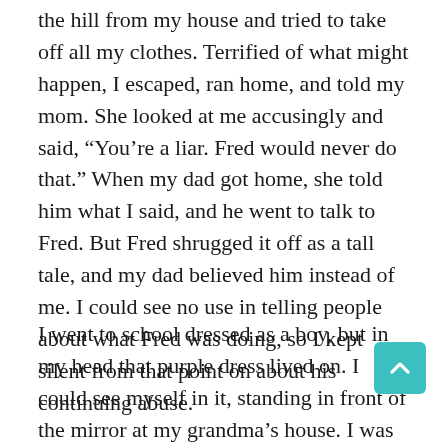the hill from my house and tried to take off all my clothes. Terrified of what might happen, I escaped, ran home, and told my mom. She looked at me accusingly and said, “You’re a liar. Fred would never do that.” When my dad got home, she told him what I said, and he went to talk to Fred. But Fred shrugged it off as a tall tale, and my dad believed him instead of me. I could see no use in telling people about what Fred was doing, so I kept silent from that point on about his continuing abuse.
I went to school dressed as a boy, but in my head that purple dress lived on. I could see myself in it, standing in front of the mirror at my grandma’s house. I was small, but I participated and excelled in football, track, and other sports. My way to cope with my gender confu… was to work hard at whatever I did. I mowed lawns,